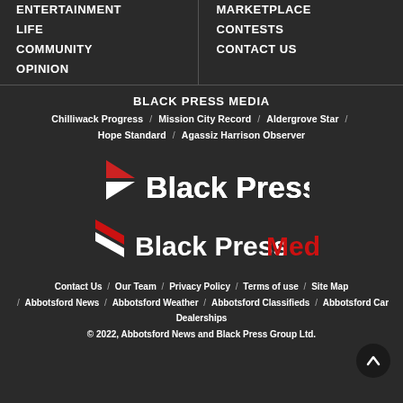ENTERTAINMENT
LIFE
COMMUNITY
OPINION
MARKETPLACE
CONTESTS
CONTACT US
BLACK PRESS MEDIA
Chilliwack Progress / Mission City Record / Aldergrove Star / Hope Standard / Agassiz Harrison Observer
[Figure (logo): Black Press Media logo with red arrow/chevron icon and text 'Black Press Media' in white and red]
Contact Us / Our Team / Privacy Policy / Terms of use / Site Map / Abbotsford News / Abbotsford Weather / Abbotsford Classifieds / Abbotsford Car Dealerships
© 2022, Abbotsford News and Black Press Group Ltd.